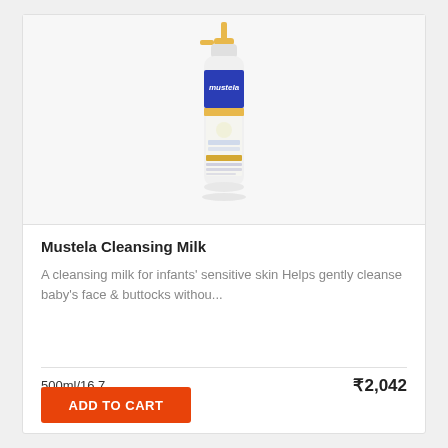[Figure (photo): Mustela Cleansing Milk product bottle with pump dispenser, white bottle with blue label and gold pump top]
Mustela Cleansing Milk
A cleansing milk for infants' sensitive skin Helps gently cleanse baby's face & buttocks withou...
500ml/16.7
₹2,042
ADD TO CART